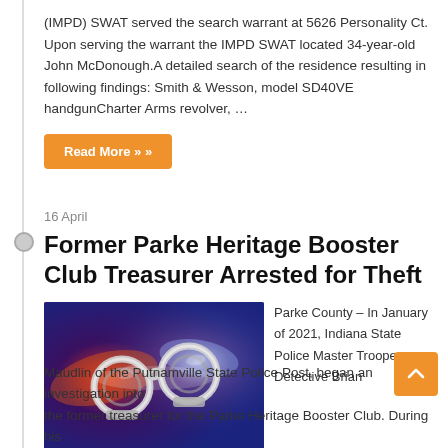(IMPD) SWAT served the search warrant at 5626 Personality Ct. Upon serving the warrant the IMPD SWAT located 34-year-old John McDonough.A detailed search of the residence resulting in following findings: Smith & Wesson, model SD40VE handgunCharter Arms revolver, ...
Read More »
16 April
Former Parke Heritage Booster Club Treasurer Arrested for Theft
[Figure (photo): Photo of handcuffs with colorful police lights (red, blue, purple) in background]
Parke County – In January of 2021, Indiana State Police Master Trooper Detective Brian Maudlin of the Putnamville State Police Post, began an investigation into the former treasurer for the Parke Heritage Booster Club. During his